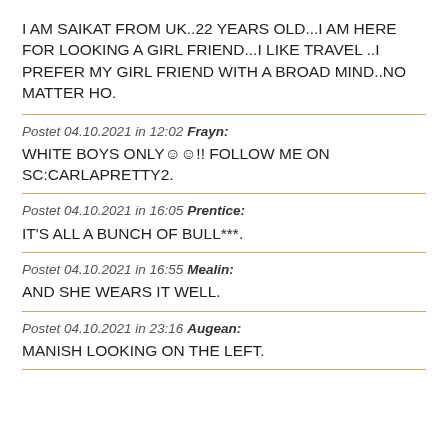I AM SAIKAT FROM UK..22 YEARS OLD...I AM HERE FOR LOOKING A GIRL FRIEND...I LIKE TRAVEL ..I PREFER MY GIRL FRIEND WITH A BROAD MIND..NO MATTER HO.
Postet 04.10.2021 in 12:02 Frayn: WHITE BOYS ONLY☺☺!! FOLLOW ME ON SC:CARLAPRETTY2.
Postet 04.10.2021 in 16:05 Prentice: IT'S ALL A BUNCH OF BULL***.
Postet 04.10.2021 in 16:55 Mealin: AND SHE WEARS IT WELL.
Postet 04.10.2021 in 23:16 Augean: MANISH LOOKING ON THE LEFT.